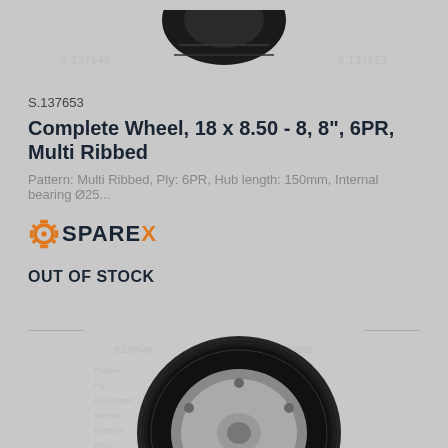[Figure (photo): Top portion of a black tire/wheel, cropped, on gray background]
S.137653
Complete Wheel, 18 x 8.50 - 8, 8", 6PR, Multi Ribbed
Pattern: Multi Ribbed, Ply: 6PR, Hub length: 150mm, Internal bearing Ø25...
[Figure (logo): Sparex logo with gear icon and orange/dark text]
OUT OF STOCK
[Figure (photo): Complete wheel with black tire and silver/gray steel rim, partial view from bottom of page]